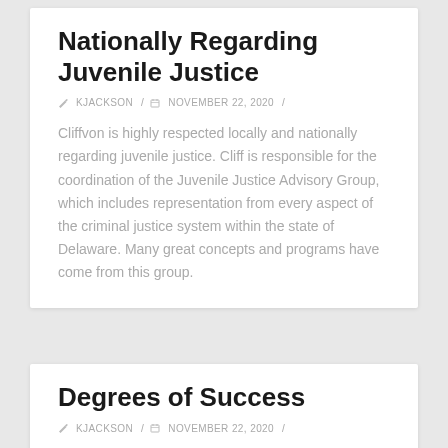Nationally Regarding Juvenile Justice
✎ KJACKSON / 📅 NOVEMBER 22, 2020 /
Cliffvon is highly respected locally and nationally regarding juvenile justice. Cliff is responsible for the coordination of the Juvenile Justice Advisory Group, which includes representation from every aspect of the criminal justice system within the state of Delaware. Many great concepts and programs have come from this group.
Degrees of Success
✎ KJACKSON / 📅 NOVEMBER 22, 2020 /